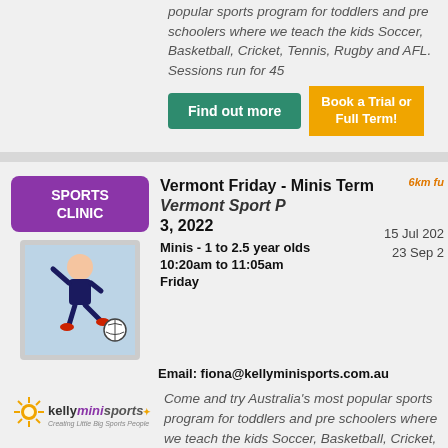popular sports program for toddlers and pre schoolers where we teach the kids Soccer, Basketball, Cricket, Tennis, Rugby and AFL. Sessions run for 45
Find out more
Book a Trial or Full Term!
Vermont Friday - Minis Term Vermont Sport P... 3, 2022 6km fu...
Minis - 1 to 2.5 year olds
10:20am to 11:05am
Friday
15 Jul 202...
23 Sep 2...
Email: fiona@kellyminisports.com.au
[Figure (logo): Kelly Mini Sports logo with sunburst icon and text]
Come and try Australia's most popular sports program for toddlers and pre schoolers where we teach the kids Soccer, Basketball, Cricket, Tennis, Rugby and AFL. Sessions run for 45
Find out more
Book a Trial or Full Term!
^ back to top